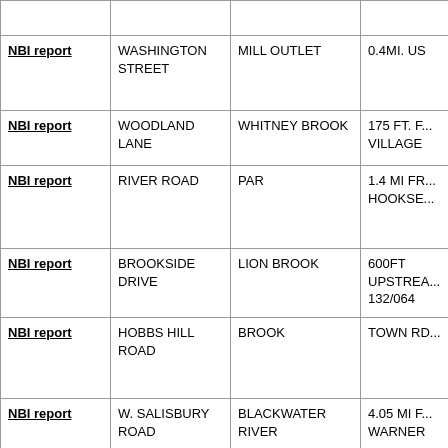|  | Road | Feature Crossed | Location |
| --- | --- | --- | --- |
| NBI report | WASHINGTON STREET | MILL OUTLET | 0.4MI. US... |
| NBI report | WOODLAND LANE | WHITNEY BROOK | 175 FT. F... VILLAGE |
| NBI report | RIVER ROAD | PAR | 1.4 MI FR... HOOKSE... |
| NBI report | BROOKSIDE DRIVE | LION BROOK | 600FT UPSTREAM... 132/064 |
| NBI report | HOBBS HILL ROAD | BROOK | TOWN RD... |
| NBI report | W. SALISBURY ROAD | BLACKWATER RIVER | 4.05 MI F... WARNER |
| NBI report | KELLYS CORNER ROAD | SANBORN BROOK | 0.5MI. NH... |
| NBI report | BIRCHDALE ROAD | WHITE BROOK | 1.25 MI S... NH 13 |
| NBI report | WARNER ROAD | BLACKWATER RIVER | 3.06 MI F... |